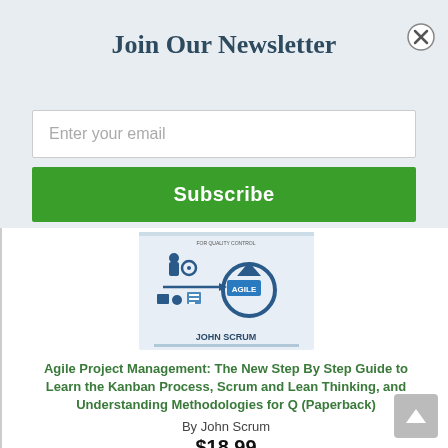Join Our Newsletter
Enter your email
Subscribe
[Figure (illustration): Book cover for Agile Project Management by John Scrum, showing agile process icons and gears with the word AGILE in the center]
Agile Project Management: The New Step By Step Guide to Learn the Kanban Process, Scrum and Lean Thinking, and Understanding Methodologies for Q (Paperback)
By John Scrum
$18.99
ADD TO CART
ADD TO WISH LIST
Available at wholesaler. We can order it for you.